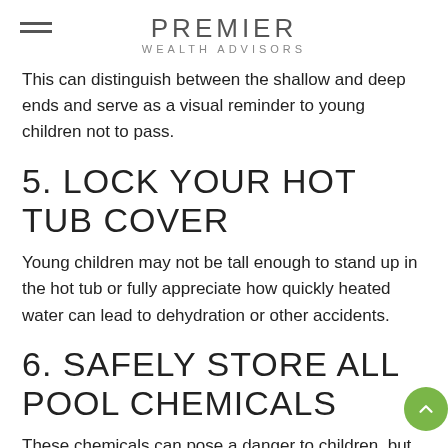PREMIER WEALTH ADVISORS
This can distinguish between the shallow and deep ends and serve as a visual reminder to young children not to pass.
5. LOCK YOUR HOT TUB COVER
Young children may not be tall enough to stand up in the hot tub or fully appreciate how quickly heated water can lead to dehydration or other accidents.
6. SAFELY STORE ALL POOL CHEMICALS
These chemicals can pose a danger to children, but